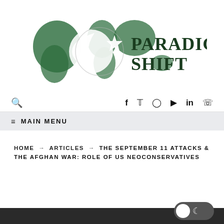[Figure (logo): Paradigm Shift logo with green watercolor world map and crescent moon with star, text reads PARADIGM SHIFT]
🔍 f t Instagram YouTube in WhatsApp
≡ MAIN MENU
HOME → ARTICLES → THE SEPTEMBER 11 ATTACKS & THE AFGHAN WAR: ROLE OF US NEOCONSERVATIVES